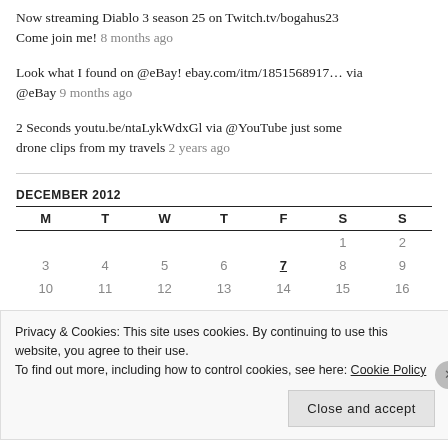Now streaming Diablo 3 season 25 on Twitch.tv/bogahus23 Come join me! 8 months ago
Look what I found on @eBay! ebay.com/itm/1851568917… via @eBay 9 months ago
2 Seconds youtu.be/ntaLykWdxGl via @YouTube just some drone clips from my travels 2 years ago
DECEMBER 2012
| M | T | W | T | F | S | S |
| --- | --- | --- | --- | --- | --- | --- |
|  |  |  |  | 1 | 2 |  |
| 3 | 4 | 5 | 6 | 7 | 8 | 9 |
| 10 | 11 | 12 | 13 | 14 | 15 | 16 |
Privacy & Cookies: This site uses cookies. By continuing to use this website, you agree to their use. To find out more, including how to control cookies, see here: Cookie Policy